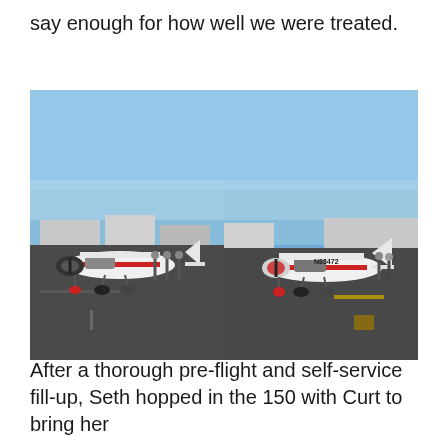say enough for how well we were treated.
[Figure (photo): Two side-by-side photos of a small white and red Cessna 150 aircraft parked on an airport tarmac under a clear blue sky, with people standing near the plane. The right photo shows the tail number N83472.]
After a thorough pre-flight and self-service fill-up, Seth hopped in the 150 with Curt to bring her